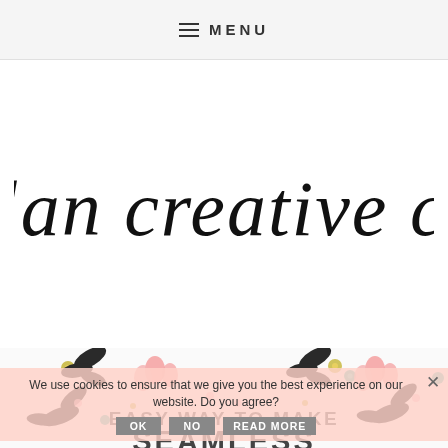≡ MENU
[Figure (logo): Elan Creative Co handwritten script logo in black on white background]
[Figure (illustration): Floral decorative illustration with flowers, leaves, and botanical elements in pink, teal, olive green, and dark colors, repeating pattern]
We use cookies to ensure that we give you the best experience on our website. Do you agree?
OK   NO   READ MORE
EASY WAY TO MAKE
SEAMLESS